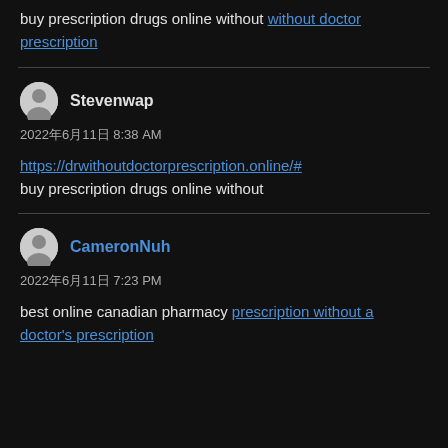buy prescription drugs online without without doctor prescription
Stevenwap
2022年6月11日 8:38 AM
https://drwithoutdoctorprescription.online/# buy prescription drugs online without
CameronNuh
2022年6月11日 7:23 PM
best online canadian pharmacy prescription without a doctor's prescription